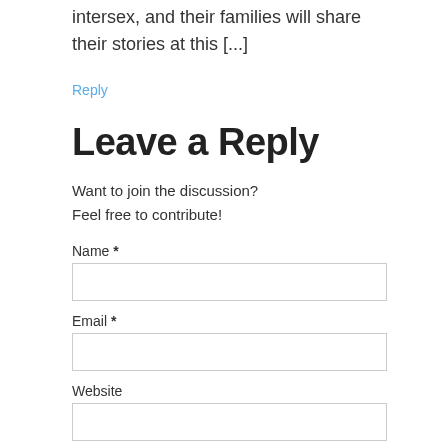intersex, and their families will share their stories at this [...]
Reply
Leave a Reply
Want to join the discussion?
Feel free to contribute!
Name *
Email *
Website
Save my name, email, and website in this browser for the